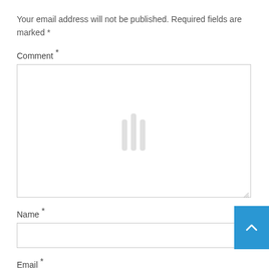Your email address will not be published. Required fields are marked *
Comment *
[Figure (screenshot): Empty comment textarea input box with resize handle and faint vertical bar watermark in center]
Name *
[Figure (screenshot): Empty name text input field]
Email *